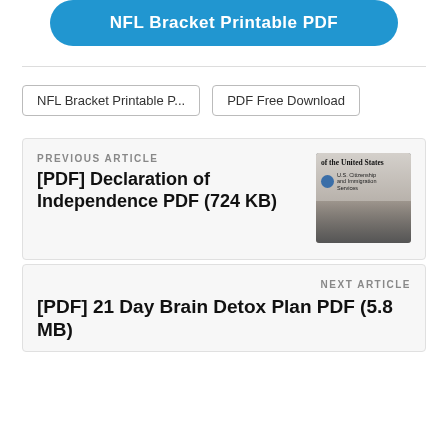[Figure (other): Blue rounded button with white bold text 'NFL Bracket Printable PDF' (partially cropped at top)]
NFL Bracket Printable P...
PDF Free Download
PREVIOUS ARTICLE
[PDF] Declaration of Independence PDF (724 KB)
[Figure (photo): Black and white photo of Declaration of Independence document with text 'of the United States' and US Citizenship and Immigration Services logo]
NEXT ARTICLE
[PDF] 21 Day Brain Detox Plan PDF (5.8 MB)